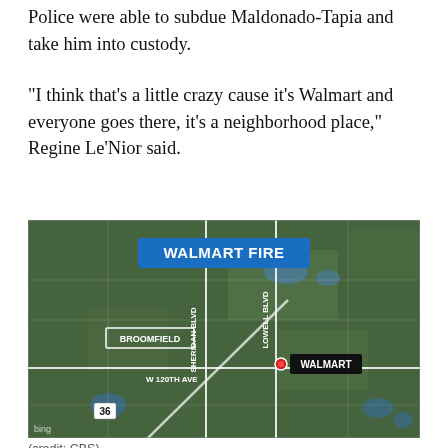Police were able to subdue Maldonado-Tapia and take him into custody.
"I think that's a little crazy cause it's Walmart and everyone goes there, it's a neighborhood place," Regine Le'Nior said.
[Figure (map): Aerial map screenshot showing the location of a Walmart Fire in Broomfield area. Labels show SHERIDAN BLVD, LOWELL BLVD, W 120TH AVE, BROOMFIELD, WALMART, and route 36. Title banner reads WALMART FIRE. Map credited to Bing.]
(credit: CBS)